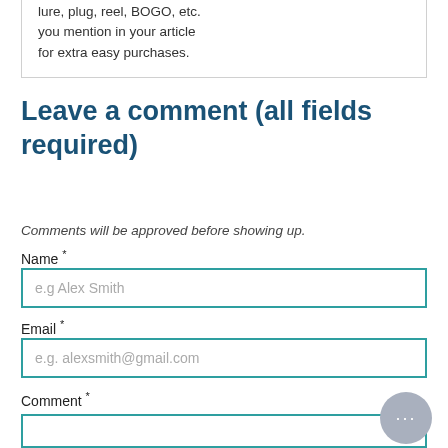lure, plug, reel, BOGO, etc. you mention in your article for extra easy purchases.
Leave a comment (all fields required)
Comments will be approved before showing up.
Name *
e.g Alex Smith
Email *
e.g. alexsmith@gmail.com
Comment *